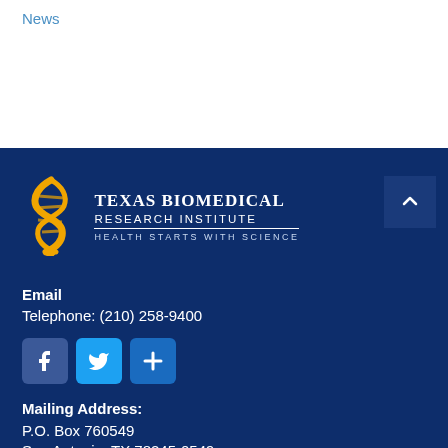News
[Figure (logo): Texas Biomedical Research Institute logo with DNA helix icon and tagline 'Health Starts with Science']
Email
Telephone: (210) 258-9400
[Figure (other): Social media icons: Facebook, Twitter, and a plus/share button]
Mailing Address:
P.O. Box 760549
San Antonio, TX 78245-0549